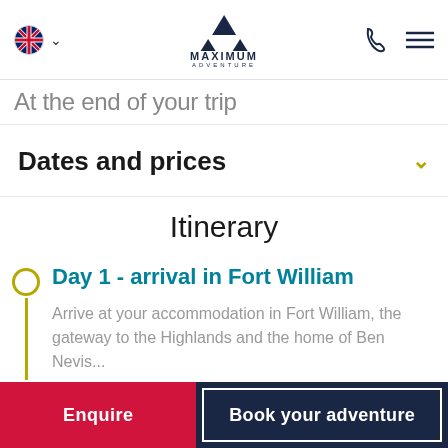Maximum Adventure website navigation header with UK flag, Maximum Adventure logo, phone icon and hamburger menu
At the end of your trip
Dates and prices
Itinerary
Day 1 - arrival in Fort William
Arrive at your accommodation in Fort William, the gateway to the Highlands and the home of Ben Nevis...
Enquire | Book your adventure